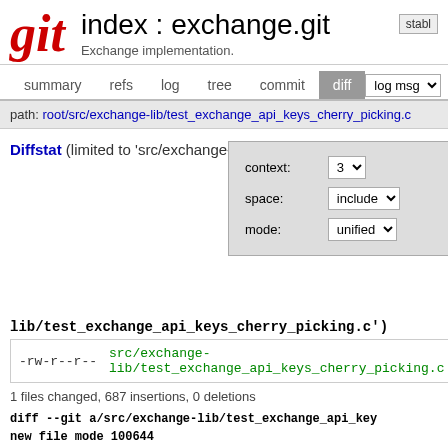index : exchange.git  Exchange implementation.
summary  refs  log  tree  commit  diff
path: root/src/exchange-lib/test_exchange_api_keys_cherry_picking.c
Diffstat (limited to 'src/exchange-   diff options
context: 3   space: include   mode: unified
lib/test_exchange_api_keys_cherry_picking.c')
| perm | file | count | bar |
| --- | --- | --- | --- |
| -rw-r--r-- | src/exchange-lib/test_exchange_api_keys_cherry_picking.c | 687 |  |
1 files changed, 687 insertions, 0 deletions
diff --git a/src/exchange-lib/test_exchange_api_key
new file mode 100644
index 00000000..02e62a3e